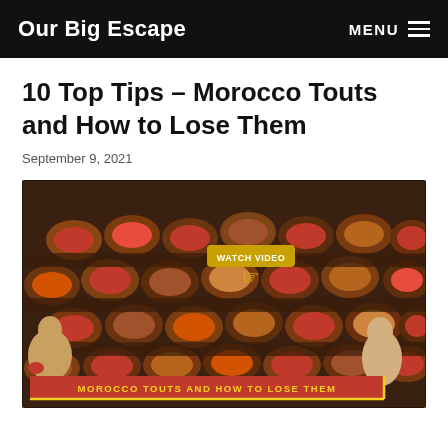Our Big Escape  MENU
10 Top Tips – Morocco Touts and How to Lose Them
September 9, 2021
[Figure (screenshot): Video thumbnail showing Morocco tannery with colorful dye vats, workers visible, overlay text 'WATCH VIDEO' with cursor hand icon, and banner text 'MOROCCO TOUTS AND HOW TO LOSE THEM' with yellow border accents]